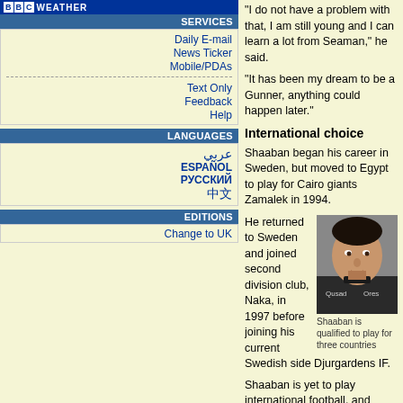BBC WEATHER
SERVICES
Daily E-mail
News Ticker
Mobile/PDAs
Text Only
Feedback
Help
LANGUAGES
عربي
ESPAÑOL
РУССКИЙ
中文
EDITIONS
Change to UK
"I do not have a problem with that, I am still young and I can learn a lot from Seaman," he said.
"It has been my dream to be a Gunner, anything could happen later."
International choice
Shaaban began his career in Sweden, but moved to Egypt to play for Cairo giants Zamalek in 1994.
[Figure (photo): Portrait photo of Shaaban in dark sports jersey with Qusad/Ores branding]
Shaaban is qualified to play for three countries
He returned to Sweden and joined second division club, Naka, in 1997 before joining his current Swedish side Djurgardens IF.
Shaaban is yet to play international football, and despite hoping to play for the Pharaohs he has been tracked by Sweden boss Lars Lagerback.
"My heart is in Egypt, but I am realistic. I am a Swedish too and honestly it would be better for me to represent the Swedish team," Shaaban said.
But BBC Sport Online contacted Egypt national team